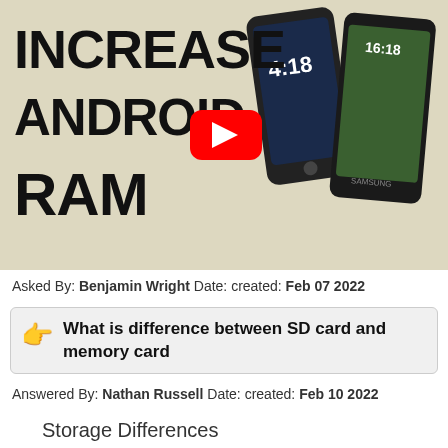[Figure (screenshot): Video thumbnail showing 'INCREASE ANDROID RAM' text in bold black letters on a beige background with two smartphones and a YouTube play button overlay]
Asked By: Benjamin Wright Date: created: Feb 07 2022
What is difference between SD card and memory card
Answered By: Nathan Russell Date: created: Feb 10 2022
Storage Differences
SDHC cards hold more data than SD cards. Both types of cards vary in